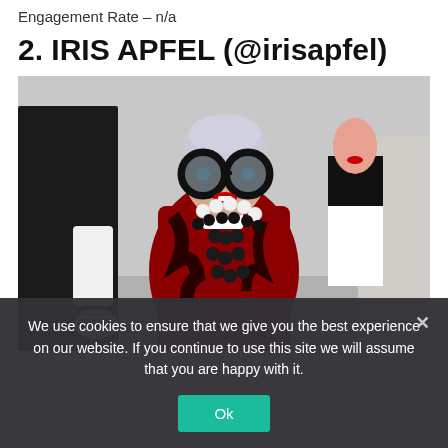Engagement Rate – n/a
2. IRIS APFEL (@irisapfel)
[Figure (photo): Photo of Iris Apfel, an elderly woman with large round black-rimmed glasses, short white hair, red lipstick, wearing a red and black patterned outfit with multiple layered necklaces including large white and black beads, standing between two mannequins in what appears to be a store setting.]
We use cookies to ensure that we give you the best experience on our website. If you continue to use this site we will assume that you are happy with it.